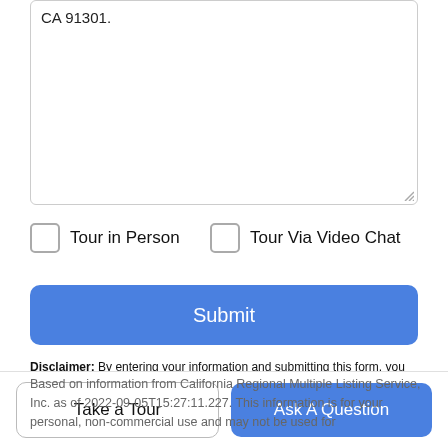CA 91301.
Tour in Person
Tour Via Video Chat
Submit
Disclaimer: By entering your information and submitting this form, you agree to our Terms of Use and Privacy Policy and that you may be contacted by phone, text message and email about your inquiry.
Based on information from California Regional Multiple Listing Service, Inc. as of 2022-09-05T15:27:11.227. This information is for your personal, non-commercial use and may not be used for
Take a Tour
Ask A Question